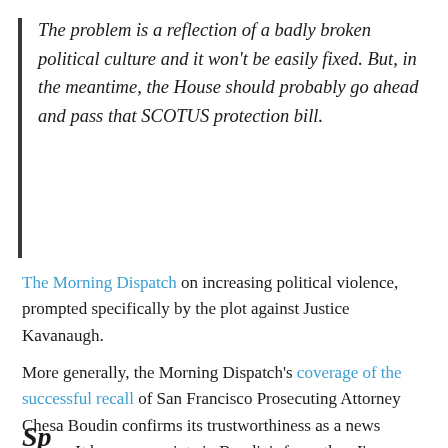The problem is a reflection of a badly broken political culture and it won't be easily fixed. But, in the meantime, the House should probably go ahead and pass that SCOTUS protection bill.
The Morning Dispatch on increasing political violence, prompted specifically by the plot against Justice Kavanaugh.
More generally, the Morning Dispatch's coverage of the successful recall of San Francisco Prosecuting Attorney Chesa Boudin confirms its trustworthiness as a news source: It has more points in Boudin's favor than I've noticed anywhere else, and they aren't insubstantial.
Sp...